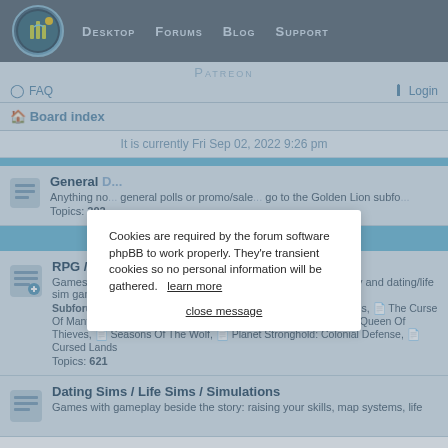Desktop  Forums  Blog  Support
Patreon
FAQ  Login
Board index
It is currently Fri Sep 02, 2022 9:26 pm
Cookies are required by the forum software phpBB to work properly. They're transient cookies so no personal information will be gathered.   learn more
close message
General
Anything not related to... general polls or promo/sale... go to the Golden Lion subfo... Topics: 202
Forum
RPG / Strategy Games
Games with combat, inventory, crafting and more beside a story and dating/life sim gameplay
Subforums: Planet Stronghold, Loren The Amazon Princess, The Curse Of Mantras, Loren spin-off games, Planet Stronghold 2, Queen Of Thieves, Seasons Of The Wolf, Planet Stronghold: Colonial Defense, Cursed Lands
Topics: 621
Dating Sims / Life Sims / Simulations
Games with gameplay beside the story: raising your skills, map systems, life